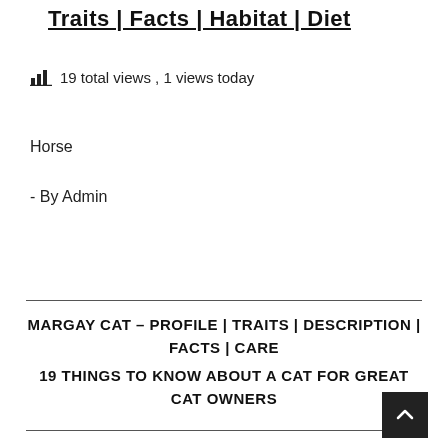Traits | Facts | Habitat | Diet
19 total views , 1 views today
Horse
- By Admin
MARGAY CAT – PROFILE | TRAITS | DESCRIPTION | FACTS | CARE
19 THINGS TO KNOW ABOUT A CAT FOR GREAT CAT OWNERS